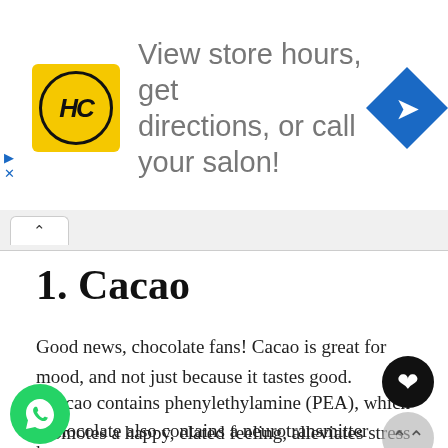[Figure (infographic): Ad banner with HC logo (yellow circle with black border), text 'View store hours, get directions, or call your salon!' and a blue diamond direction icon on the right.]
1. Cacao
Good news, chocolate fans! Cacao is great for mood, and not just because it tastes good.
“Cacao contains phenylethylamine (PEA), which promotes a happy, elated feeling, alleviates stress and depression and gives you the same feeling you get while falling in love,” explains Peggy Kotsopolous, nutritionist for The Little Potato Company.
“Chocolate also contains a neurotransmitter known as